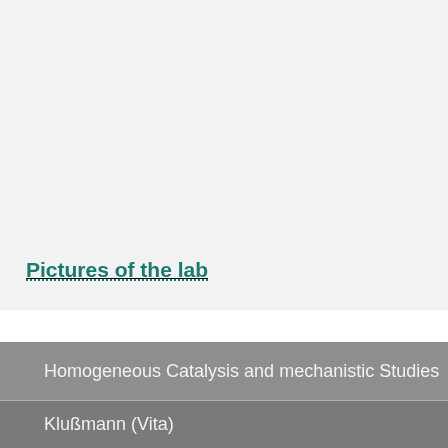[Figure (other): Large light gray empty/blank area representing a placeholder for pictures of the lab]
Pictures of the lab
Homogeneous Catalysis and mechanistic Studies
Klußmann (Vita)